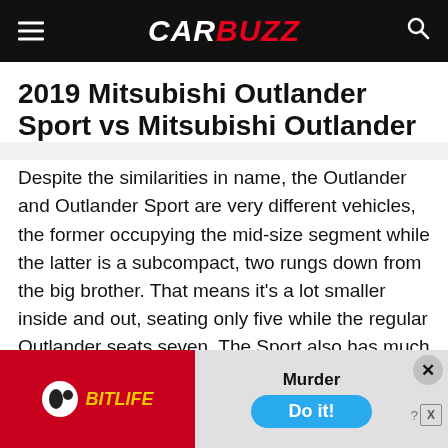CARBUZZ
2019 Mitsubishi Outlander Sport vs Mitsubishi Outlander
Despite the similarities in name, the Outlander and Outlander Sport are very different vehicles, the former occupying the mid-size segment while the latter is a subcompact, two rungs down from the big brother. That means it's a lot smaller inside and out, seating only five while the regular Outlander seats seven. The Sport also has much less storage
[Figure (screenshot): BitLife advertisement banner with red left panel showing BitLife logo and right panel with 'Murder Do it!' call to action button]